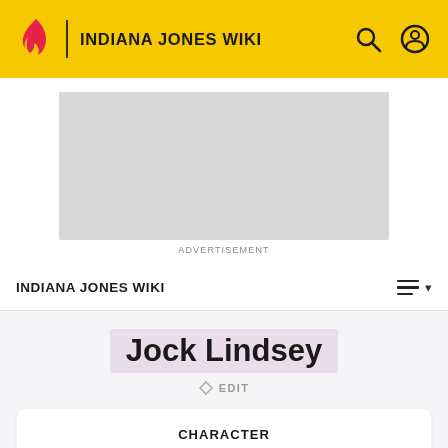INDIANA JONES WIKI
[Figure (screenshot): Advertisement placeholder box (gray rectangle)]
ADVERTISEMENT
INDIANA JONES WIKI
Jock Lindsey
EDIT
CHARACTER
Jock Lindsey